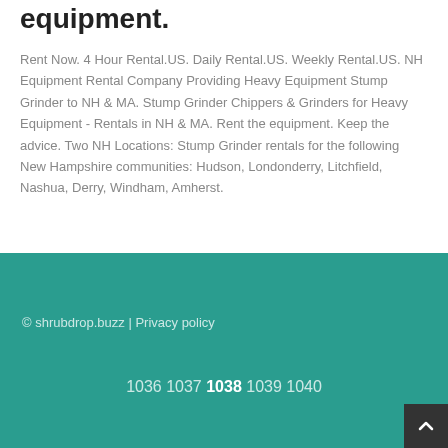equipment.
Rent Now. 4 Hour Rental.US. Daily Rental.US. Weekly Rental.US. NH Equipment Rental Company Providing Heavy Equipment Stump Grinder to NH & MA. Stump Grinder Chippers & Grinders for Heavy Equipment - Rentals in NH & MA. Rent the equipment. Keep the advice. Two NH Locations: Stump Grinder rentals for the following New Hampshire communities: Hudson, Londonderry, Litchfield, Nashua, Derry, Windham, Amherst.
© shrubdrop.buzz | Privacy policy
1036 1037 1038 1039 1040